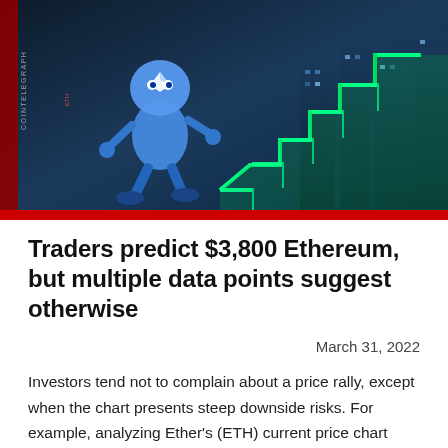[Figure (illustration): Cointelegraph illustration showing a cartoon Ethereum character (blue robot/person) walking up glowing neon staircase steps against a futuristic city background with a green ascending price chart]
Traders predict $3,800 Ethereum, but multiple data points suggest otherwise
March 31, 2022
Investors tend not to complain about a price rally, except when the chart presents steep downside risks. For example, analyzing Ether's (ETH) current price chart could lead one to conclude that the ascending channel since March 15 is too aggressive. Ether price at FTX, in USD. Source: TradingView Thus, it is only natural for traders